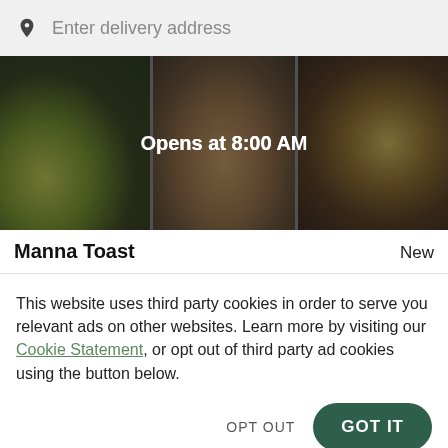Enter delivery address
[Figure (photo): Food delivery app screenshot showing three food trays with an overlay reading 'Opens at 8:00 AM']
Manna Toast
New
This website uses third party cookies in order to serve you relevant ads on other websites. Learn more by visiting our Cookie Statement, or opt out of third party ad cookies using the button below.
OPT OUT
GOT IT